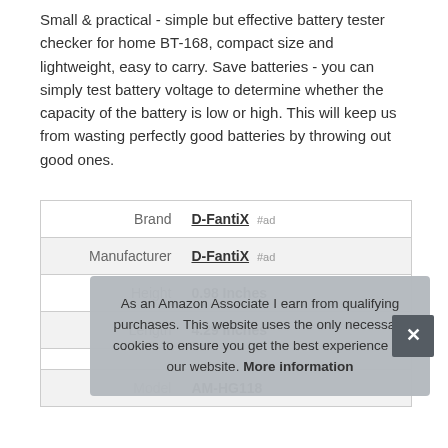Small & practical - simple but effective battery tester checker for home BT-168, compact size and lightweight, easy to carry. Save batteries - you can simply test battery voltage to determine whether the capacity of the battery is low or high. This will keep us from wasting perfectly good batteries by throwing out good ones.
|  |  |
| --- | --- |
| Brand | D-FantiX #ad |
| Manufacturer | D-FantiX #ad |
| Height | 0.98 Inches |
| Length | 4.29 Inches |
| P |  |
| Model | AM-HG118 |
As an Amazon Associate I earn from qualifying purchases. This website uses the only necessary cookies to ensure you get the best experience on our website. More information